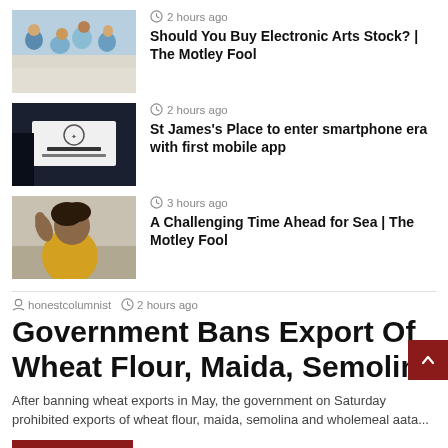[Figure (photo): Group of young people sitting together, gaming or socializing indoors]
2 hours ago
Should You Buy Electronic Arts Stock? | The Motley Fool
[Figure (photo): St James's Place wealth management sign on a dark background]
2 hours ago
St James's Place to enter smartphone era with first mobile app
[Figure (photo): Woman with hand raised to head, looking surprised or thoughtful, wearing yellow top]
3 hours ago
A Challenging Time Ahead for Sea | The Motley Fool
honestcolumnist  2 hours ago
Government Bans Export Of Wheat Flour, Maida, Semolina
After banning wheat exports in May, the government on Saturday prohibited exports of wheat flour, maida, semolina and wholemeal aata...
Read More »